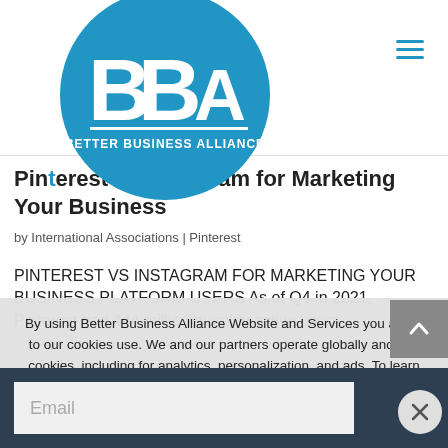[Figure (logo): Better Business Alliance (BBA) circular logo — blue circle with white BBA letters and text 'BETTER BUSINESS ALLIANCE']
Pinterest vs Instagram for Marketing Your Business
by International Associations | Pinterest
PINTEREST VS INSTAGRAM FOR MARKETING YOUR BUSINESS PLATFORM USERS As of Q4 in 2021, Pinterest had 444 million monthly active users
By using Better Business Alliance Website and Services you agree to our cookies use. We and our partners operate globally and use cookies, including for analytics, personalization, and ads. To learn more please see our privacy policy
Email